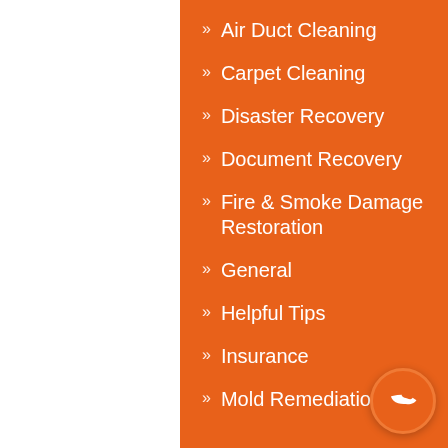Air Duct Cleaning
Carpet Cleaning
Disaster Recovery
Document Recovery
Fire & Smoke Damage Restoration
General
Helpful Tips
Insurance
Mold Remediation
[Figure (illustration): Phone call button icon in bottom right corner]